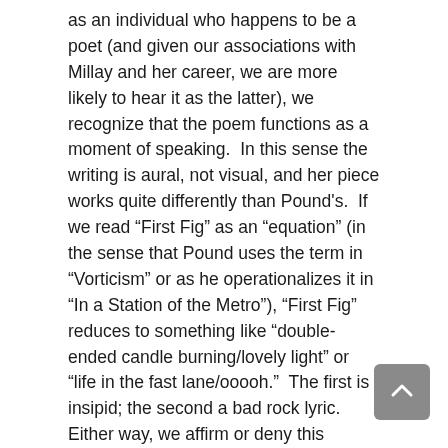as an individual who happens to be a poet (and given our associations with Millay and her career, we are more likely to hear it as the latter), we recognize that the poem functions as a moment of speaking.  In this sense the writing is aural, not visual, and her piece works quite differently than Pound's.  If we read “First Fig” as an “equation” (in the sense that Pound uses the term in “Vorticism” or as he operationalizes it in “In a Station of the Metro”), “First Fig” reduces to something like “double-ended candle burning/lovely light” or “life in the fast lane/ooooh.”  The first is insipid; the second a bad rock lyric.  Either way, we affirm or deny this “equation” so quickly and with so little investment that it has little impact.  The equation expresses a cliché, not a discovery.
“First Fig” is not, though, a failed Poundian equation.  Its impact comes from the inflections of the represented voice as that voice addresses to the reader as imagined auditor.  This is especially clear in the third line, where the counterpoint of the two spoken interjections sets up the last line not as a simple observation but as a dramatically resonant assertion that evokes the speaker’s complex experience of the gains and losses of her burning.  “First Fig,” that is, is a poem we read to